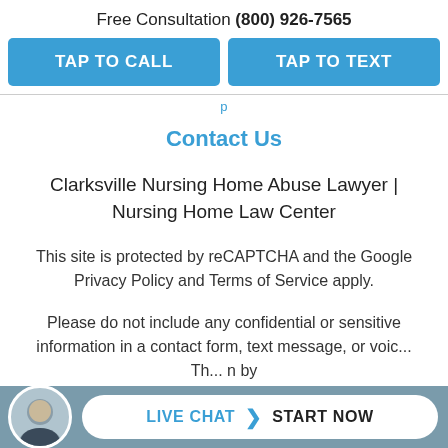Free Consultation (800) 926-7565
TAP TO CALL
TAP TO TEXT
Contact Us
Clarksville Nursing Home Abuse Lawyer | Nursing Home Law Center
This site is protected by reCAPTCHA and the Google Privacy Policy and Terms of Service apply.
Please do not include any confidential or sensitive information in a contact form, text message, or voic... Th... n by
LIVE CHAT  START NOW